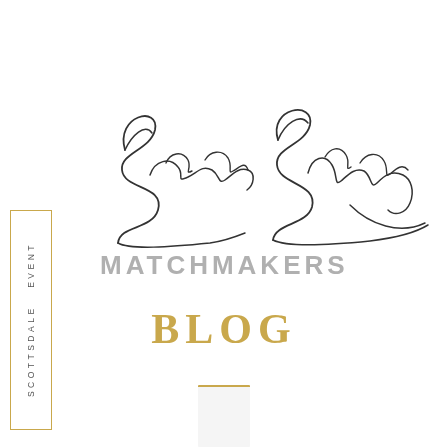[Figure (logo): Sameera Sullivan Matchmakers logo with script handwriting for 'Sameera Sullivan' and bold uppercase 'MATCHMAKERS' in gray, plus 'BLOG' in gold serif font, with a vertical sidebar label reading 'SCOTTSDALE EVENT' in a gold-bordered box on the left side]
BLOG
SCOTTSDALE EVENT